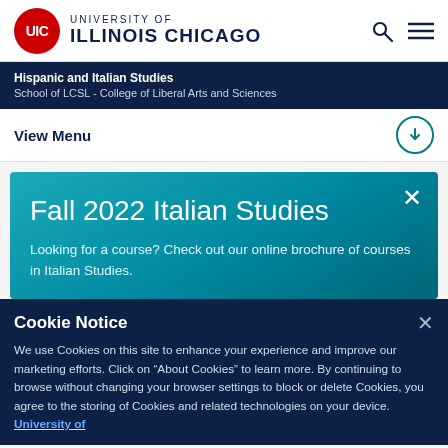UNIVERSITY OF ILLINOIS CHICAGO
Hispanic and Italian Studies
School of LCSL - College of Liberal Arts and Sciences
View Menu
Fall 2022 Italian Studies
Looking for a course? Check out our online brochure of courses in Italian Studies.
Cookie Notice
We use Cookies on this site to enhance your experience and improve our marketing efforts. Click on "About Cookies" to learn more. By continuing to browse without changing your browser settings to block or delete Cookies, you agree to the storing of Cookies and related technologies on your device. University of